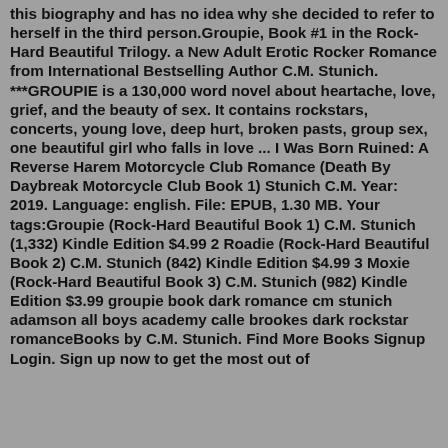this biography and has no idea why she decided to refer to herself in the third person.Groupie, Book #1 in the Rock-Hard Beautiful Trilogy. a New Adult Erotic Rocker Romance from International Bestselling Author C.M. Stunich. ***GROUPIE is a 130,000 word novel about heartache, love, grief, and the beauty of sex. It contains rockstars, concerts, young love, deep hurt, broken pasts, group sex, one beautiful girl who falls in love ... I Was Born Ruined: A Reverse Harem Motorcycle Club Romance (Death By Daybreak Motorcycle Club Book 1) Stunich C.M. Year: 2019. Language: english. File: EPUB, 1.30 MB. Your tags:Groupie (Rock-Hard Beautiful Book 1) C.M. Stunich (1,332) Kindle Edition $4.99 2 Roadie (Rock-Hard Beautiful Book 2) C.M. Stunich (842) Kindle Edition $4.99 3 Moxie (Rock-Hard Beautiful Book 3) C.M. Stunich (982) Kindle Edition $3.99 groupie book dark romance cm stunich adamson all boys academy calle brookes dark rockstar romanceBooks by C.M. Stunich. Find More Books Signup Login. Sign up now to get the most out of